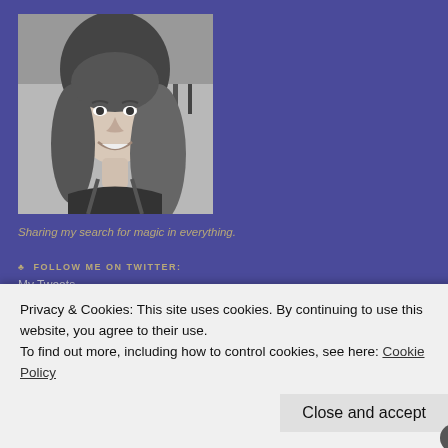[Figure (photo): Black and white portrait photo of a woman with long wavy hair, smiling, in front of a railing/fence background]
Sharing my search for magic in everything.
♣ FOLLOW ME ON TWITTER:
My Tweets
♣ FOLLOW BLOG VIA EMAIL
Enter your email address to follow this blog and receive notifications of new posts by email.
Privacy & Cookies: This site uses cookies. By continuing to use this website, you agree to their use.
To find out more, including how to control cookies, see here: Cookie Policy
Close and accept